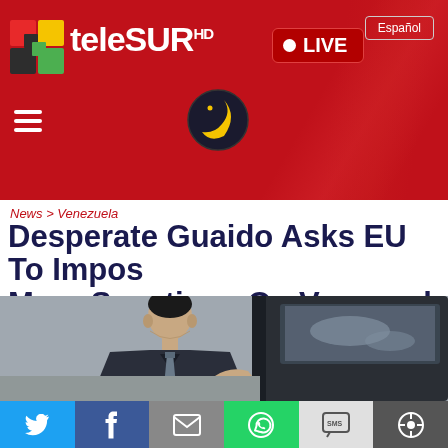teleSUR HD — LIVE — Español
News > Venezuela
Desperate Guaido Asks EU To Impose More Sanctions On Venezuela
[Figure (photo): Man in dark suit standing beside a vehicle door, looking to the side]
Social sharing buttons: Twitter, Facebook, Email, WhatsApp, SMS, Other